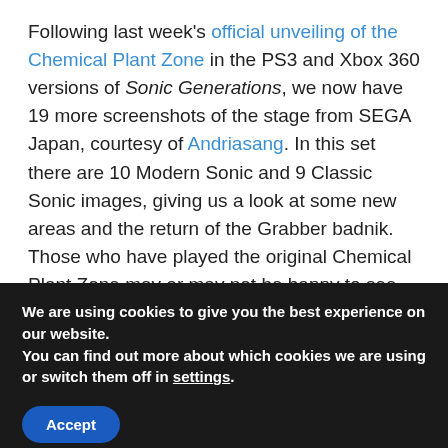Following last week's official unveiling of the Chemical Plant Zone in the PS3 and Xbox 360 versions of Sonic Generations, we now have 19 more screenshots of the stage from SEGA Japan, courtesy of Andriasang. In this set there are 10 Modern Sonic and 9 Classic Sonic images, giving us a look at some new areas and the return of the Grabber badnik. Those who have played the original Chemical Plant Zone may or may not be happy to see the return of a certain platforming puzzle involving lots of
We are using cookies to give you the best experience on our website.
You can find out more about which cookies we are using or switch them off in settings.
Accept